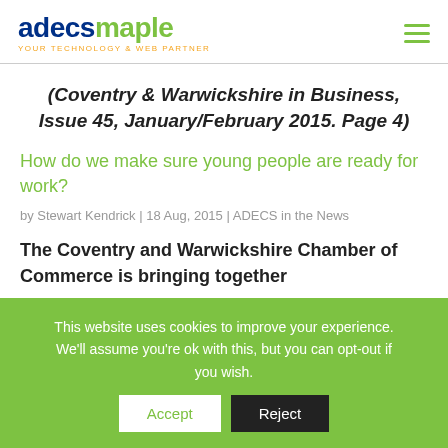adecsmaple YOUR TECHNOLOGY & WEB PARTNER
(Coventry & Warwickshire in Business, Issue 45, January/February 2015. Page 4)
How do we make sure young people are ready for work?
by Stewart Kendrick | 18 Aug, 2015 | ADECS in the News
The Coventry and Warwickshire Chamber of Commerce is bringing together
This website uses cookies to improve your experience. We'll assume you're ok with this, but you can opt-out if you wish. Accept Reject